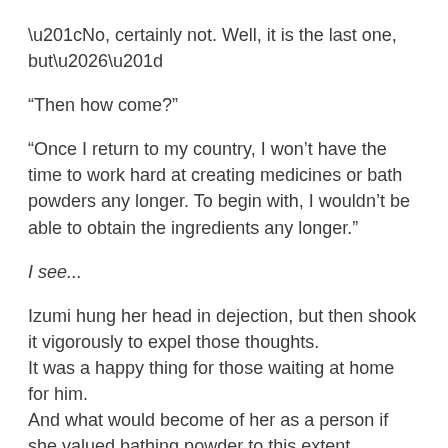“No, certainly not. Well, it is the last one, but…”
“Then how come?”
“Once I return to my country, I won’t have the time to work hard at creating medicines or bath powders any longer. To begin with, I wouldn’t be able to obtain the ingredients any longer.”
I see…
Izumi hung her head in dejection, but then shook it vigorously to expel those thoughts.
It was a happy thing for those waiting at home for him.
And what would become of her as a person if she valued bathing powder to this extent.
“But, why so suddenly?”